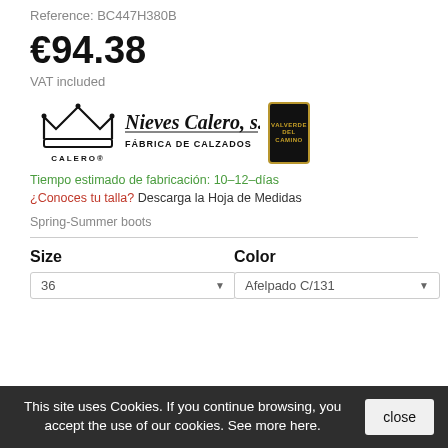Reference: BC447H380B
€94.38
VAT included
[Figure (logo): Nieves Calero, s.l. — FÁBRICA DE CALZADOS brand logo with crown and CALERO® text, plus a black badge with gold border]
Tiempo estimado de fabricación: 10–12–días
¿Conoces tu talla? Descarga la Hoja de Medidas
Spring-Summer boots
Size
Color
36 ▼
Afelpado C/131 ▼
This site uses Cookies. If you continue browsing, you accept the use of our cookies. See more here.